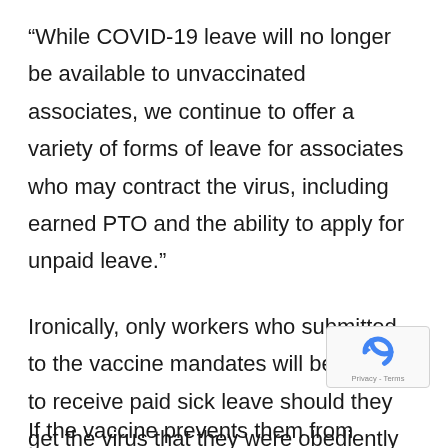“While COVID-19 leave will no longer be available to unvaccinated associates, we continue to offer a variety of forms of leave for associates who may contract the virus, including earned PTO and the ability to apply for unpaid leave.”
Ironically, only workers who submitted to the vaccine mandates will be eligible to receive paid sick leave should they get the virus that they were obediently vaccinated against.
[Figure (logo): reCAPTCHA badge with blue circular arrow logo and Privacy - Terms text]
If the vaccine prevents them from getting the virus